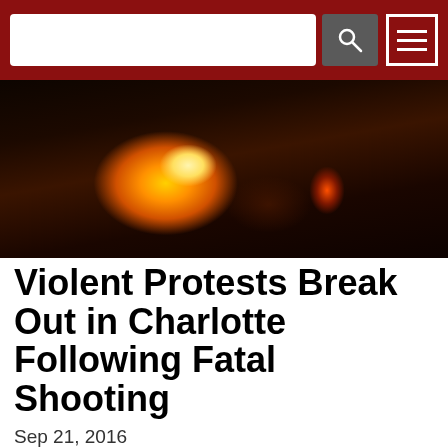[Search bar and navigation menu]
[Figure (photo): Dark nighttime scene with orange and yellow flames/fire visible, protest scene in Charlotte]
Violent Protests Break Out in Charlotte Following Fatal Shooting
Sep 21, 2016
Overnight protests in Charlotte, North Carolina led law enforcement to suit up in self-defense riot gear, disperse tear gas and more when the demonstration turned violent, injuring 16 police officers